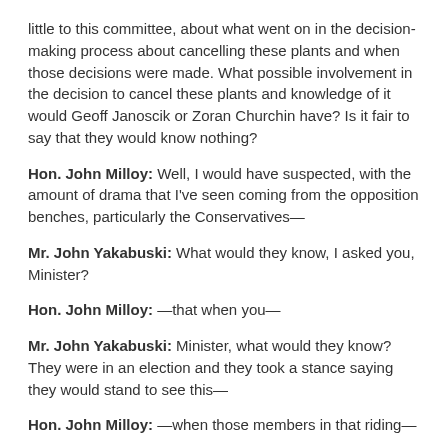little to this committee, about what went on in the decision-making process about cancelling these plants and when those decisions were made. What possible involvement in the decision to cancel these plants and knowledge of it would Geoff Janoscik or Zoran Churchin have? Is it fair to say that they would know nothing?
Hon. John Milloy: Well, I would have suspected, with the amount of drama that I've seen coming from the opposition benches, particularly the Conservatives—
Mr. John Yakabuski: What would they know, I asked you, Minister?
Hon. John Milloy: —that when you—
Mr. John Yakabuski: Minister, what would they know? They were in an election and they took a stance saying they would stand to see this—
Hon. John Milloy: —when those members in that riding—